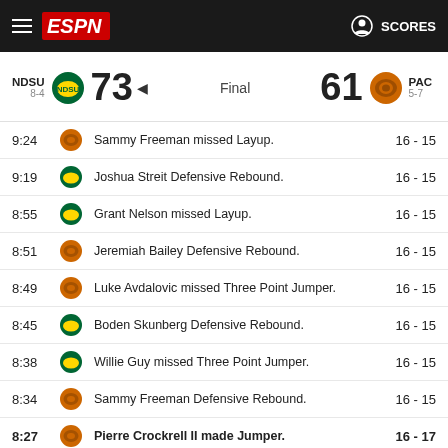ESPN - SCORES
NDSU 8-4  73  Final  61  PAC 5-7
| Time | Team | Play | Score |
| --- | --- | --- | --- |
| 9:24 | PAC | Sammy Freeman missed Layup. | 16 - 15 |
| 9:19 | NDSU | Joshua Streit Defensive Rebound. | 16 - 15 |
| 8:55 | NDSU | Grant Nelson missed Layup. | 16 - 15 |
| 8:51 | PAC | Jeremiah Bailey Defensive Rebound. | 16 - 15 |
| 8:49 | PAC | Luke Avdalovic missed Three Point Jumper. | 16 - 15 |
| 8:45 | NDSU | Boden Skunberg Defensive Rebound. | 16 - 15 |
| 8:38 | NDSU | Willie Guy missed Three Point Jumper. | 16 - 15 |
| 8:34 | PAC | Sammy Freeman Defensive Rebound. | 16 - 15 |
| 8:27 | PAC | Pierre Crockrell II made Jumper. | 16 - 17 |
| 8:11 | NDSU | Andrew Kallman made Three Point Jumper. Assisted by Willie Guy. | 19 - 17 |